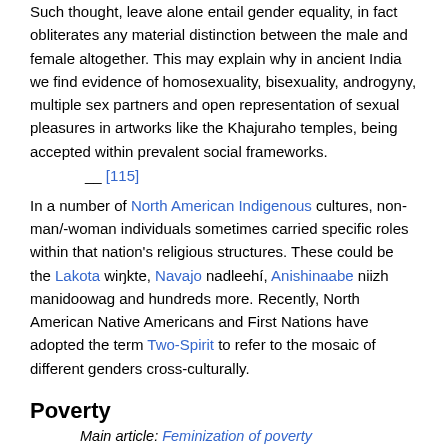Such thought, leave alone entail gender equality, in fact obliterates any material distinction between the male and female altogether. This may explain why in ancient India we find evidence of homosexuality, bisexuality, androgyny, multiple sex partners and open representation of sexual pleasures in artworks like the Khajuraho temples, being accepted within prevalent social frameworks.
__ [115]
In a number of North American Indigenous cultures, non-man/-woman individuals sometimes carried specific roles within that nation's religious structures. These could be the Lakota wiŋkte, Navajo nadleehí, Anishinaabe niizh manidoowag and hundreds more. Recently, North American Native Americans and First Nations have adopted the term Two-Spirit to refer to the mosaic of different genders cross-culturally.
Poverty
Main article: Feminization of poverty